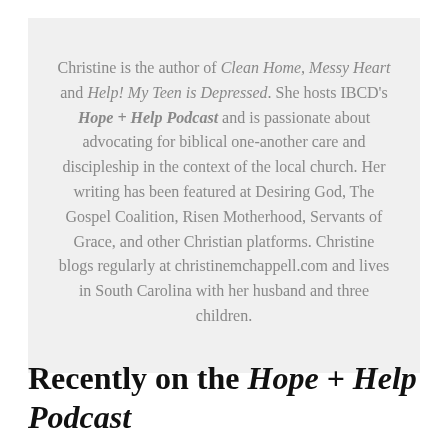Christine is the author of Clean Home, Messy Heart and Help! My Teen is Depressed. She hosts IBCD's Hope + Help Podcast and is passionate about advocating for biblical one-another care and discipleship in the context of the local church. Her writing has been featured at Desiring God, The Gospel Coalition, Risen Motherhood, Servants of Grace, and other Christian platforms. Christine blogs regularly at christinemchappell.com and lives in South Carolina with her husband and three children.
Recently on the Hope + Help Podcast